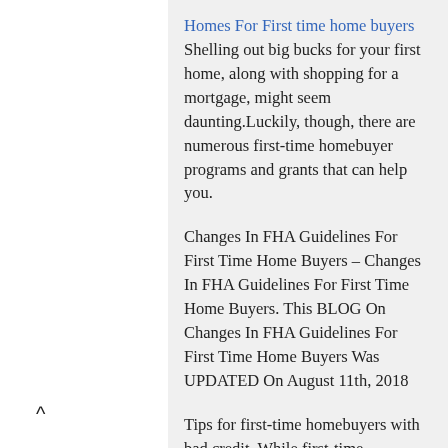Homes For First time home buyers Shelling out big bucks for your first home, along with shopping for a mortgage, might seem daunting.Luckily, though, there are numerous first-time homebuyer programs and grants that can help you.
Changes In FHA Guidelines For First Time Home Buyers – Changes In FHA Guidelines For First Time Home Buyers. This BLOG On Changes In FHA Guidelines For First Time Home Buyers Was UPDATED On August 11th, 2018
Tips for first-time homebuyers with bad credit. While first-time homebuyers with bad credit face more challenges than buyers with